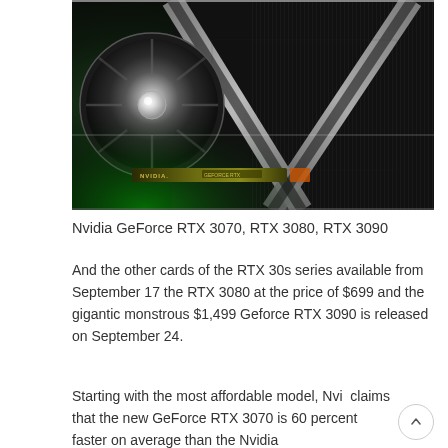[Figure (photo): Close-up photo of Nvidia GeForce RTX 30 series graphics card (GPU) showing the fan, X-shaped heatsink cover, and textured surface with subtle green glow in the background]
Nvidia GeForce RTX 3070, RTX 3080, RTX 3090
And the other cards of the RTX 30s series available from September 17 the RTX 3080 at the price of $699 and the gigantic monstrous $1,499 Geforce RTX 3090 is released on September 24.
Starting with the most affordable model, Nvidia claims that the new GeForce RTX 3070 is 60 percent faster on average than the Nvidia